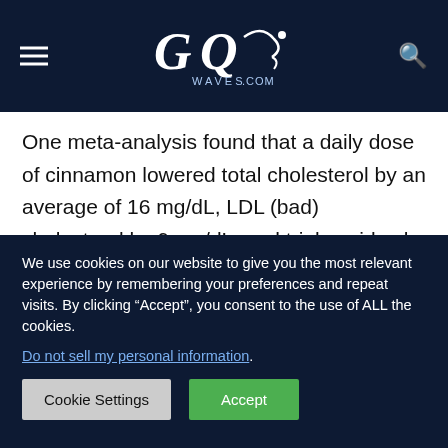GQWaves.com
One meta-analysis found that a daily dose of cinnamon lowered total cholesterol by an average of 16 mg/dL, LDL (bad) cholesterol by 9 mg/dL, and triglycerides by 30 mg/dL. There was also a slight increase in HDL (good) cholesterol levels. While they have not been studied together, cinnamon
We use cookies on our website to give you the most relevant experience by remembering your preferences and repeat visits. By clicking “Accept”, you consent to the use of ALL the cookies. Do not sell my personal information.